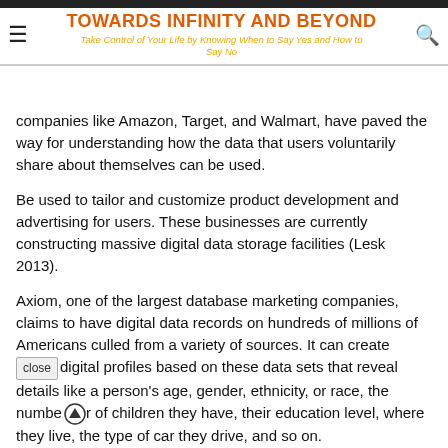TOWARDS INFINITY AND BEYOND
Take Control of Your Life by Knowing When to Say Yes and How to Say No
companies like Amazon, Target, and Walmart, have paved the way for understanding how the data that users voluntarily share about themselves can be used.
Be used to tailor and customize product development and advertising for users. These businesses are currently constructing massive digital data storage facilities (Lesk 2013).
Axiom, one of the largest database marketing companies, claims to have digital data records on hundreds of millions of Americans culled from a variety of sources. It can create digital profiles based on these data sets that reveal details like a person's age, gender, ethnicity, or race, the number of children they have, their education level, where they live, the type of car they drive, and so on.